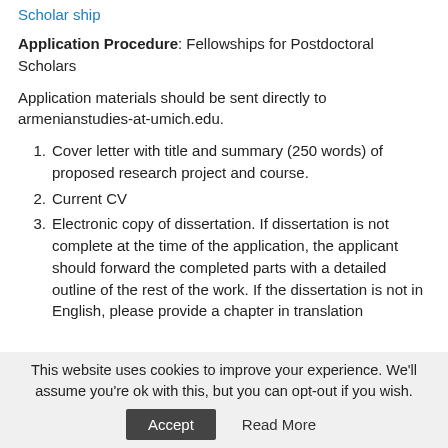Scholarship
Application Procedure: Fellowships for Postdoctoral Scholars
Application materials should be sent directly to armenianstudies-at-umich.edu.
Cover letter with title and summary (250 words) of proposed research project and course.
Current CV
Electronic copy of dissertation. If dissertation is not complete at the time of the application, the applicant should forward the completed parts with a detailed outline of the rest of the work. If the dissertation is not in English, please provide a chapter in translation
This website uses cookies to improve your experience. We'll assume you're ok with this, but you can opt-out if you wish.